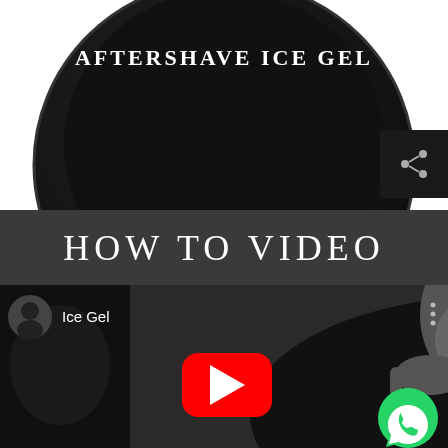[Figure (photo): Black circular container of Aftershave Ice Gel product with text 'AFTERSHAVE ICE GEL' in white letters on dark textured surface]
HOW TO VIDEO
[Figure (screenshot): YouTube video thumbnail showing black and white photo of a man tilting his head back touching his face, with channel avatar showing a man in suit, channel name 'Ice Gel', YouTube play button in red, and green WhatsApp button overlay]